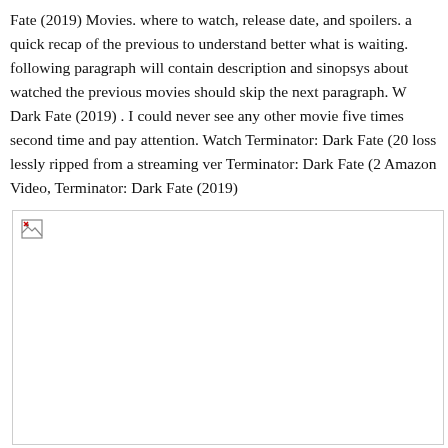Fate (2019) Movies. where to watch, release date, and spoilers. a quick recap of the previous to understand better what is waiting. following paragraph will contain description and sinopsys about watched the previous movies should skip the next paragraph. W Dark Fate (2019) . I could never see any other movie five times second time and pay attention. Watch Terminator: Dark Fate (20 loss lessly ripped from a streaming ver Terminator: Dark Fate (2 Amazon Video, Terminator: Dark Fate (2019)
[Figure (photo): A broken/missing image placeholder shown as a rectangle with a small broken image icon in the top-left corner.]